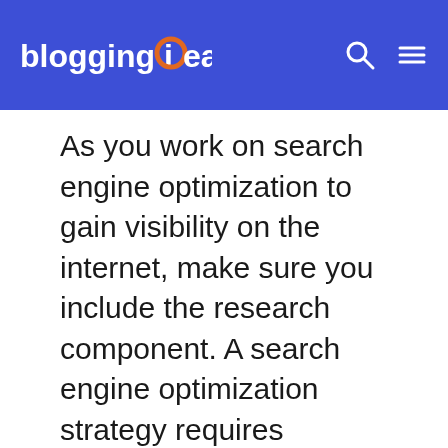blogging ideas
As you work on search engine optimization to gain visibility on the internet, make sure you include the research component. A search engine optimization strategy requires keyword research. There are plenty of tools you can use in order to do keyword research. There are programs like Google Adwords and the search tool to help you. There are companies that created user-friendly programs to help people who are looking for the right keywords. If this isn't your forte, you can always outsource this part of the process to a professional who knows how to find the ideal keywords for